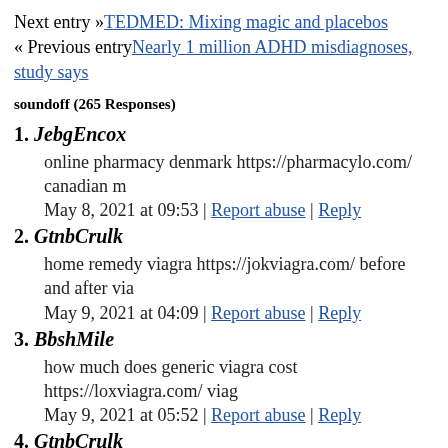Next entry »TEDMED: Mixing magic and placebos
« Previous entryNearly 1 million ADHD misdiagnoses, study says
soundoff (265 Responses)
1. JebgEncox
online pharmacy denmark https://pharmacylo.com/ canadian m
May 8, 2021 at 09:53 | Report abuse | Reply
2. GtnbCrulk
home remedy viagra https://jokviagra.com/ before and after via
May 9, 2021 at 04:09 | Report abuse | Reply
3. BbshMile
how much does generic viagra cost https://loxviagra.com/ viag
May 9, 2021 at 05:52 | Report abuse | Reply
4. GtnbCrulk
is viagra dangerous https://jokviagra.com/ watermelon viagra
May 9, 2021 at 11:14 | Report abuse | Reply